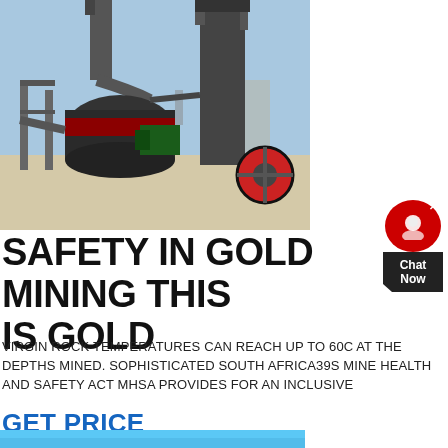[Figure (photo): Industrial mining equipment - large metal grinding/milling machine with cylindrical towers and ducts, photographed outdoors against a light sky]
SAFETY IN GOLD MINING THIS IS GOLD
VIRGIN ROCK TEMPERATURES CAN REACH UP TO 60C AT THE DEPTHS MINED. SOPHISTICATED SOUTH AFRICA39S MINE HEALTH AND SAFETY ACT MHSA PROVIDES FOR AN INCLUSIVE
GET PRICE
[Figure (photo): Bottom portion of a blue-sky or water image, partially visible at bottom of page]